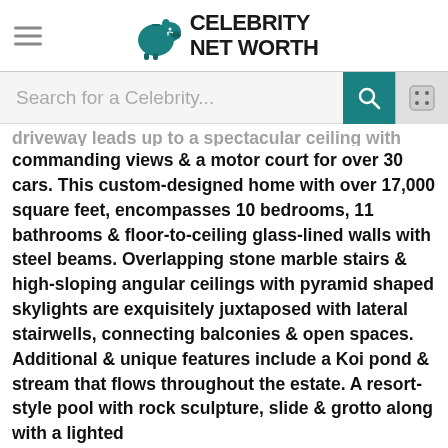Celebrity Net Worth
Search for a Celebrity...
driveway leads up to a spectacular setting with commanding views & a motor court for over 30 cars. This custom-designed home with over 17,000 square feet, encompasses 10 bedrooms, 11 bathrooms & floor-to-ceiling glass-lined walls with steel beams. Overlapping stone marble stairs & high-sloping angular ceilings with pyramid shaped skylights are exquisitely juxtaposed with lateral stairwells, connecting balconies & open spaces. Additional & unique features include a Koi pond & stream that flows throughout the estate. A resort-style pool with rock sculpture, slide & grotto along with a lighted North/South tennis court & outdoor dining terrace are specifically designed for concerts, fundraisers, or